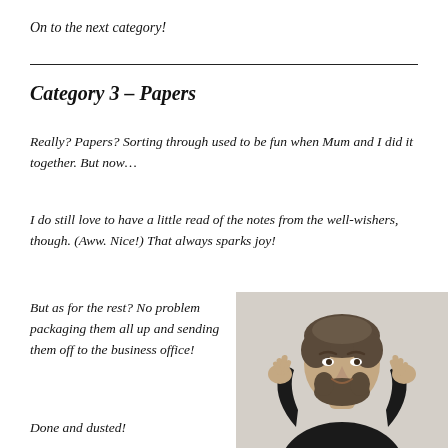On to the next category!
Category 3 – Papers
Really? Papers? Sorting through used to be fun when Mum and I did it together. But now…
I do still love to have a little read of the notes from the well-wishers, though. (Aww. Nice!) That always sparks joy!
But as for the rest? No problem packaging them all up and sending them off to the business office!
[Figure (photo): A man with dark hair and beard wearing a black shirt, crossing his fingers on both hands and smiling, photographed against a light background.]
Done and dusted!